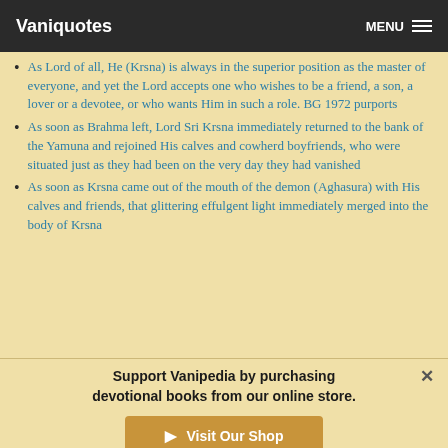Vaniquotes | MENU
As Lord of all, He (Krsna) is always in the superior position as the master of everyone, and yet the Lord accepts one who wishes to be a friend, a son, a lover or a devotee, or who wants Him in such a role. BG 1972 purports
As soon as Brahma left, Lord Sri Krsna immediately returned to the bank of the Yamuna and rejoined His calves and cowherd boyfriends, who were situated just as they had been on the very day they had vanished
As soon as Krsna came out of the mouth of the demon (Aghasura) with His calves and friends, that glittering effulgent light immediately merged into the body of Krsna
Support Vanipedia by purchasing devotional books from our online store.
Visit Our Shop